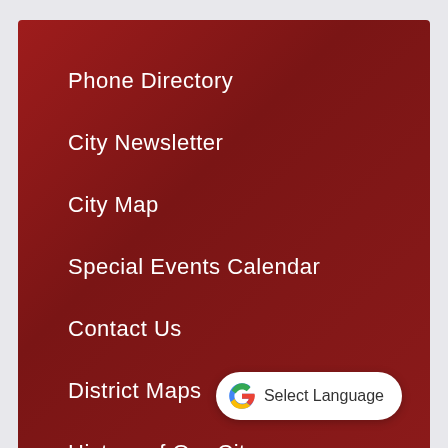Phone Directory
City Newsletter
City Map
Special Events Calendar
Contact Us
District Maps
History of Our City
[Figure (logo): Google Translate widget button with Google G logo and 'Select Language' text]